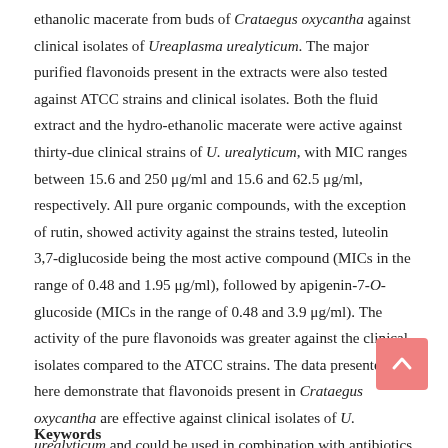ethanolic macerate from buds of Crataegus oxycantha against clinical isolates of Ureaplasma urealyticum. The major purified flavonoids present in the extracts were also tested against ATCC strains and clinical isolates. Both the fluid extract and the hydro-ethanolic macerate were active against thirty-due clinical strains of U. urealyticum, with MIC ranges between 15.6 and 250 μg/ml and 15.6 and 62.5 μg/ml, respectively. All pure organic compounds, with the exception of rutin, showed activity against the strains tested, luteolin 3,7-diglucoside being the most active compound (MICs in the range of 0.48 and 1.95 μg/ml), followed by apigenin-7-O-glucoside (MICs in the range of 0.48 and 3.9 μg/ml). The activity of the pure flavonoids was greater against the clinical isolates compared to the ATCC strains. The data presented here demonstrate that flavonoids present in Crataegus oxycantha are effective against clinical isolates of U. urealyticum and could be used in combination with antibiotics in order to combat resistance.
Keywords